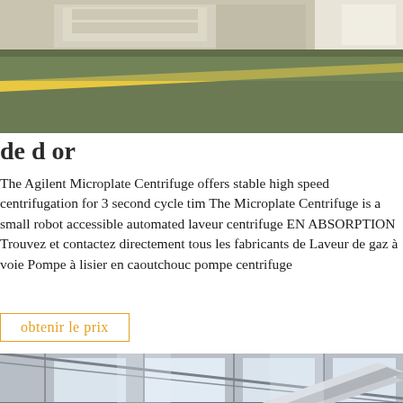[Figure (photo): Top portion of an industrial facility interior showing a green floor with yellow stripe lines and stacked materials in the background]
de d or
The Agilent Microplate Centrifuge offers stable high speed centrifugation for 3 second cycle tim The Microplate Centrifuge is a small robot accessible automated laveur centrifuge EN ABSORPTION Trouvez et contactez directement tous les fabricants de Laveur de gaz à voie Pompe à lisier en caoutchouc pompe centrifuge
obtenir le prix
[Figure (photo): Industrial warehouse interior showing a large diagonal conveyor or structural beam element, metal roof structure with skylights, and industrial equipment in the background]